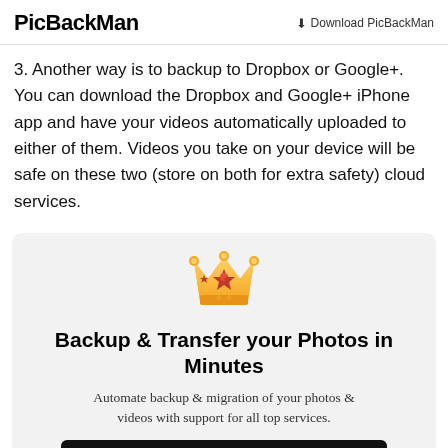PicBackMan | Download PicBackMan
3. Another way is to backup to Dropbox or Google+. You can download the Dropbox and Google+ iPhone app and have your videos automatically uploaded to either of them. Videos you take on your device will be safe on these two (store on both for extra safety) cloud services.
[Figure (illustration): Crown emoji icon in gold/orange color]
Backup & Transfer your Photos in Minutes
Automate backup & migration of your photos & videos with support for all top services.